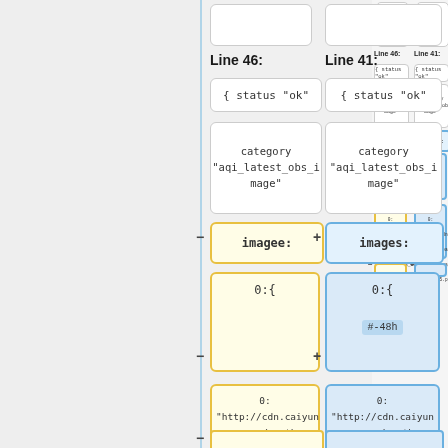Line 46:
Line 41:
{ status  "ok"
{ status  "ok"
category
"aqi_latest_obs_i
mage"
category
"aqi_latest_obs_i
mage"
imagee:
images:
0:{
0:{
#​​-48h​
0:
"http://cdn.caiyun
app.com/weather
/pm25_rt_na_20
190318_05.png"
0:
"http://cdn.caiyun
app.com/weather
/pm25_rt_na_20
190318_05.png"
#UTC​​
1:
1: